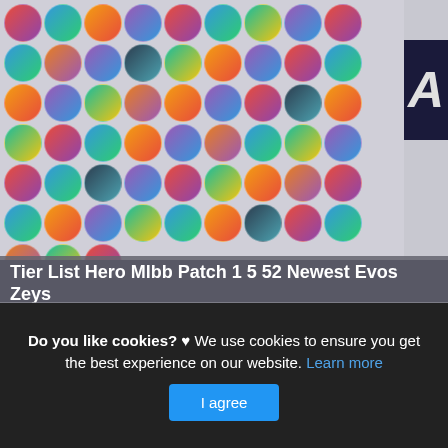[Figure (illustration): Grid of circular hero character icons from Mobile Legends Bang Bang, arranged in rows against a light gray background, with a dark sidebar on the right showing the letter A in italic bold style]
Tier List Hero Mlbb Patch 1 5 52 Newest Evos Zeys
This is actually a short article or even graphic around the Tier List Hero Mlbb Patch 1 5 52 Newest Evos Zeys Version Mobile, if you desire even more details around the short post or even photo satisfy click on or even see the adhering to
Do you like cookies? ♥ We use cookies to ensure you get the best experience on our website. Learn more
I agree